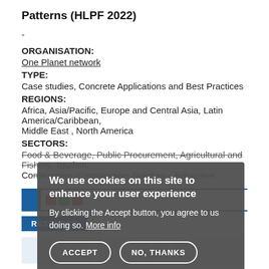Patterns (HLPF 2022)
-
ORGANISATION:
One Planet network
TYPE:
Case studies, Concrete Applications and Best Practices
REGIONS:
Africa, Asia/Pacific, Europe and Central Asia, Latin America/Caribbean, Middle East , North America
SECTORS:
Food & Beverage, Public Procurement, Agricultural and Fishery, Tourism, Co... Construction, Building... Education
We use cookies on this site to enhance your user experience
By clicking the Accept button, you agree to us doing so. More info
ACCEPT
NO, THANKS